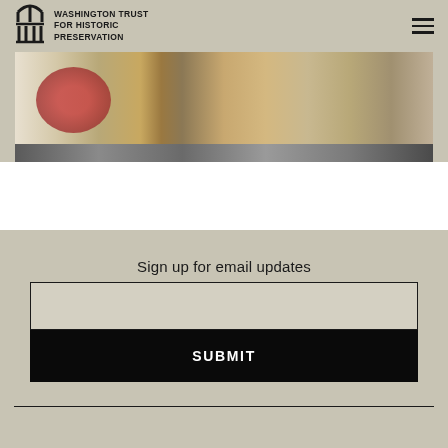Washington Trust for Historic Preservation
[Figure (photo): Close-up photo of what appears to be a food service counter or buffet display with stainless steel equipment and colorful food items visible]
Sign up for email updates
SUBMIT